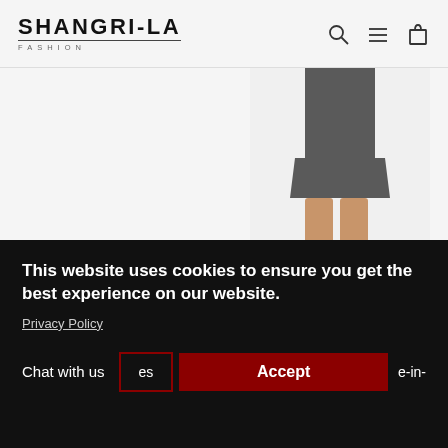SHANGRI-LA FASHION
[Figure (photo): Partial view of a female model wearing a dark grey daydress and heeled sandals, cropped at waist down]
Daydress model 149974 Moe
MOE
$77.99
This website uses cookies to ensure you get the best experience on our website.
Privacy Policy
Chat with us
es
Accept
e-in-